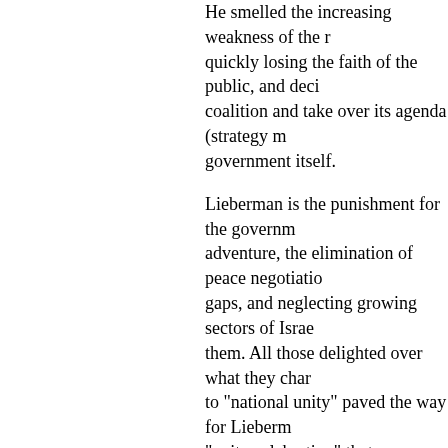He smelled the increasing weakness of the ruling party, quickly losing the faith of the public, and decided to join its coalition and take over its agenda (strategy more) government itself.
Lieberman is the punishment for the government's military adventure, the elimination of peace negotiations, growing gaps, and neglecting growing sectors of Israeli society and them. All those delighted over what they characterized as call to "national unity" paved the way for Lieberman's own "unity celebration" that never ends, through conflicts internal and external.
Therefore, Lieberman will not stop waving the same blood-soaked flag under whose shadow took place 50 years ago.
Amir Peretz and the Labor Party leadership, who struggled to prevent Lieberman's addition, will soon discover that Lieberman has already declared that everything agreed upon as "its basic lines are not worth much," and s ministers in the government.
The "black flag" of an inherently illegal order against is now turning into the black flag of a Therefore, it is our civil duty to resist this new democracy, and fight together, Arabs and Jew equality.